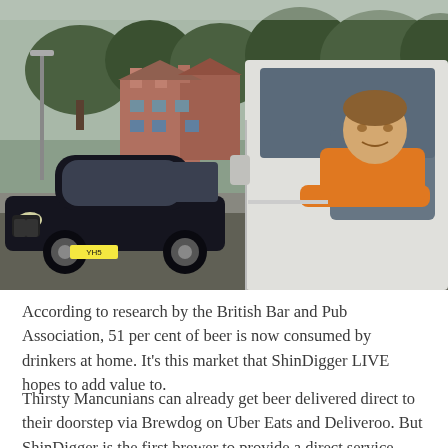[Figure (photo): A young man in an orange hoodie leaning out of a white van window, with a dark BMW car parked on a residential street behind him. Trees and brick buildings visible in the background.]
According to research by the British Bar and Pub Association, 51 per cent of beer is now consumed by drinkers at home. It's this market that ShinDigger LIVE hopes to add value to.
Thirsty Mancunians can already get beer delivered direct to their doorstep via Brewdog on Uber Eats and Deliveroo. But ShinDigger is the first brewer to provide a direct service, offering fresh beer...